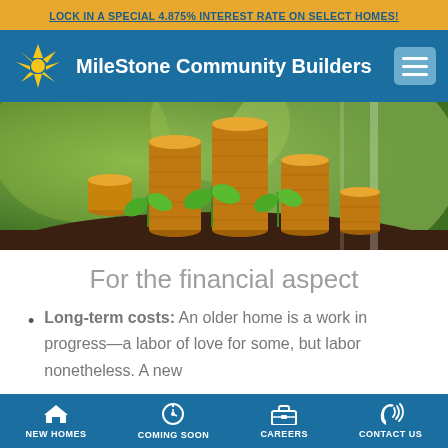LOCK IN A SPECIAL 4.875% INTEREST RATE ON SELECT HOMES!
[Figure (logo): MileSstone Community Builders logo with sunburst icon and navigation bar]
[Figure (photo): Stacked gold coins growing from soil with green plants, representing financial growth]
For the financial aspect
Long-term costs: An older home is a work in progress—a labor of love for some, but labor nonetheless. A new
NEW HOMES | COMING SOON | CAREERS | CONTACT US